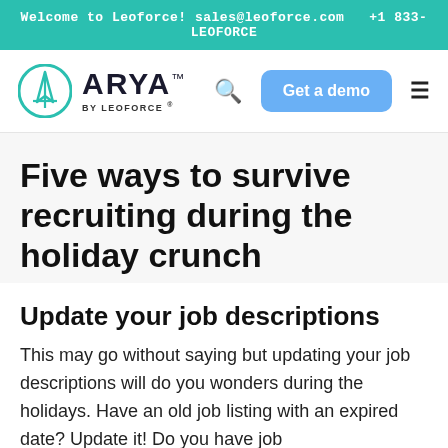Welcome to Leoforce! sales@leoforce.com  +1 833-LEOFORCE
[Figure (logo): ARYA by Leoforce logo with teal circular emblem]
Five ways to survive recruiting during the holiday crunch
Update your job descriptions
This may go without saying but updating your job descriptions will do you wonders during the holidays. Have an old job listing with an expired date? Update it! Do you have job